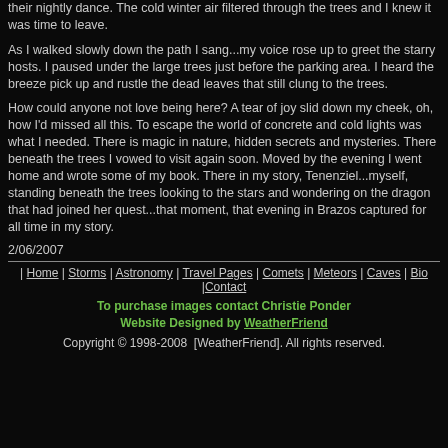their nightly dance. The cold winter air filtered through the trees and I knew it was time to leave.
As I walked slowly down the path I sang...my voice rose up to greet the starry hosts. I paused under the large trees just before the parking area. I heard the breeze pick up and rustle the dead leaves that still clung to the trees.
How could anyone not love being here? A tear of joy slid down my cheek, oh, how I'd missed all this. To escape the world of concrete and cold lights was what I needed. There is magic in nature, hidden secrets and mysteries. There beneath the trees I vowed to visit again soon. Moved by the evening I went home and wrote some of my book. There in my story, Tenenziel...myself, standing beneath the trees looking to the stars and wondering on the dragon that had joined her quest...that moment, that evening in Brazos captured for all time in my story.
2/06/2007
| Home | Storms | Astronomy | Travel Pages | Comets | Meteors  | Caves | Bio |Contact
To purchase images contact Christie Ponder
Website Designed by WeatherFriend
Copyright © 1998-2008  [WeatherFriend]. All rights reserved.